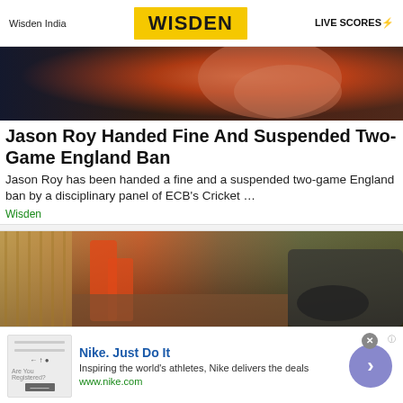Wisden India | WISDEN | LIVE SCORES
[Figure (photo): Cricket player in red shirt, close-up action shot]
Jason Roy Handed Fine And Suspended Two-Game England Ban
Jason Roy has been handed a fine and a suspended two-game England ban by a disciplinary panel of ECB's Cricket …
Wisden
[Figure (photo): Excavator machinery digging near a wooden fence]
[Figure (other): Nike advertisement banner: Nike. Just Do It. Inspiring the world's athletes, Nike delivers the deals. www.nike.com]